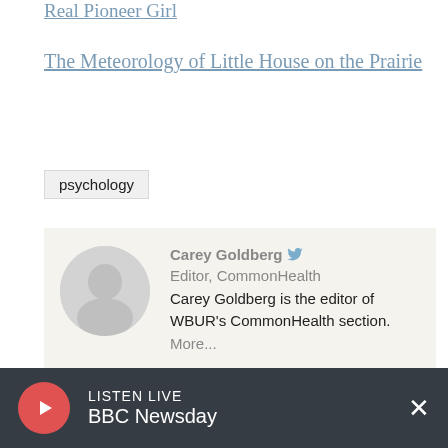Real Pioneer Girl
The Meteorology of Little House on the Prairie
psychology
[Figure (photo): Author photo of Carey Goldberg, circular avatar]
Carey Goldberg  Editor, CommonHealth
Carey Goldberg is the editor of WBUR's CommonHealth section.
More...
ADVERTISEMENT
LISTEN LIVE
BBC Newsday